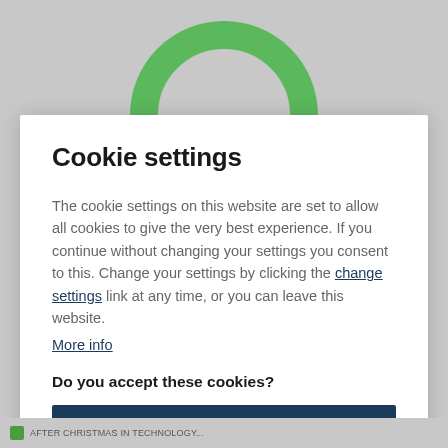[Figure (other): Partial green donut/ring chart visible at top of page behind the modal dialog, with grey background]
Cookie settings
The cookie settings on this website are set to allow all cookies to give the very best experience. If you continue without changing your settings you consent to this. Change your settings by clicking the change settings link at any time, or you can leave this website.
More info
Do you accept these cookies?
yes